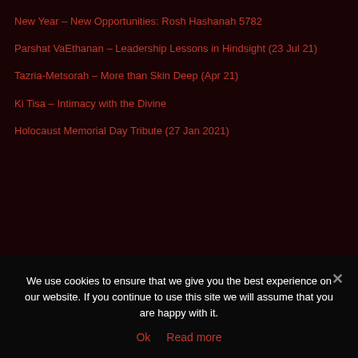New Year – New Opportunities: Rosh Hashanah 5782
Parshat VaEthanan – Leadership Lessons in Hindsight (23 Jul 21)
Tazria-Metsorah – More than Skin Deep (Apr 21)
Ki Tisa – Intimacy with the Divine
Holocaust Memorial Day Tribute (27 Jan 2021)
We use cookies to ensure that we give you the best experience on our website. If you continue to use this site we will assume that you are happy with it.
Ok   Read more